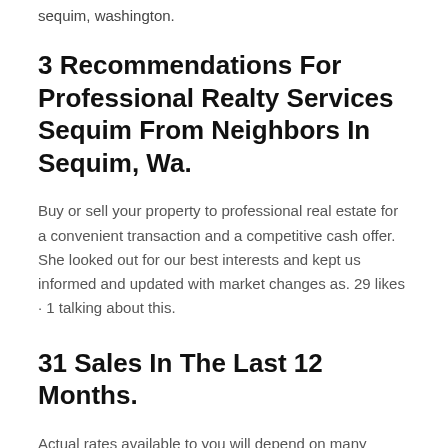sequim, washington.
3 Recommendations For Professional Realty Services Sequim From Neighbors In Sequim, Wa.
Buy or sell your property to professional real estate for a convenient transaction and a competitive cash offer. She looked out for our best interests and kept us informed and updated with market changes as. 29 likes · 1 talking about this.
31 Sales In The Last 12 Months.
Actual rates available to you will depend on many factors including. The beds can contain digits only the beds is required. Find real estate agency professional real estate in